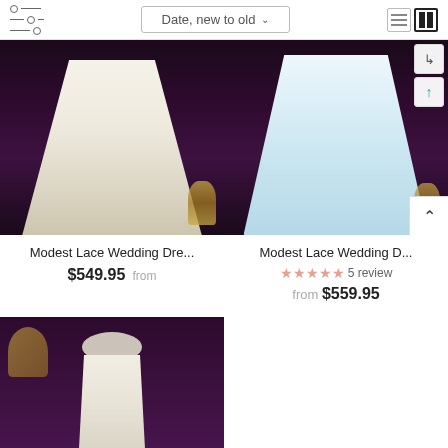Date, new to old
[Figure (photo): Wedding dress product image 1 - Modest Lace Wedding Dress, white/ivory gown against purple background]
Modest Lace Wedding Dre...
from $549.95
[Figure (photo): Wedding dress product image 2 - Modest Lace Wedding Dress, light blue/white gown against purple background]
Modest Lace Wedding D...
5 reviews
from $559.95
[Figure (photo): Wedding dress product image 3 - Modest Lace Wedding Dress on mannequin against purple background]